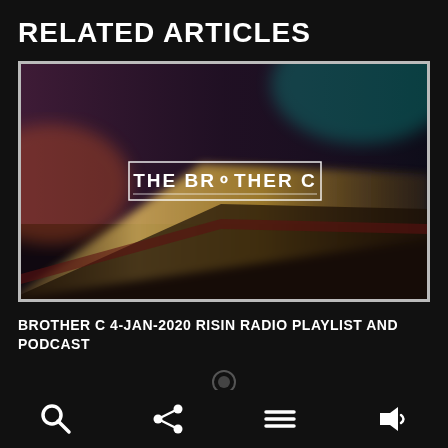RELATED ARTICLES
[Figure (photo): Thumbnail image for The Brother C radio show — blurred nighttime road/cityscape with 'THE BROTHER C' logo text centered on the image]
BROTHER C 4-JAN-2020 RISIN RADIO PLAYLIST AND PODCAST